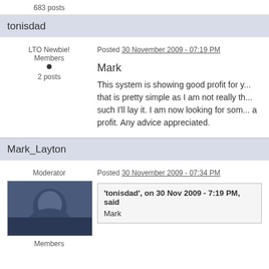683 posts
tonisdad
LTO Newbie!
Members
2 posts
Posted 30 November 2009 - 07:19 PM
Mark
This system is showing good profit for y... that is pretty simple as I am not really th... such I'll lay it. I am now looking for som... a profit. Any advice appreciated.
Mark_Layton
Moderator
Members
Posted 30 November 2009 - 07:34 PM
'tonisdad', on 30 Nov 2009 - 7:19 PM, said
Mark